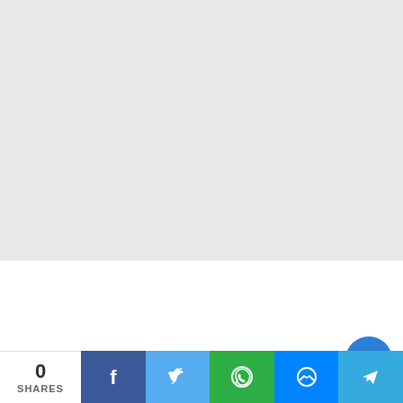[Figure (other): Large gray placeholder area at top of page, likely an advertisement or image slot]
Trending Jobs
0 SHARES | Facebook share | Twitter share | WhatsApp share | Messenger share | Telegram share